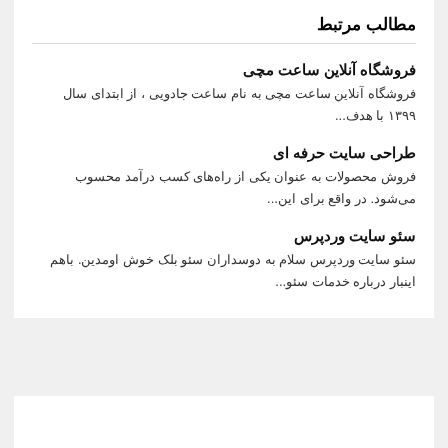مطالب مرتبط
فروشگاه آنلاین ساعت مچی
فروشگاه آنلاین ساعت مچی به نام ساعت جادویی ، از ابتدای سال ۱۳۹۹ با هدف...
طراحی سایت حرفه ای
فروش محصولات به عنوان یکی از راه‌های کسب درآمد محسوب می‌شود. در واقع برای این...
سئو سایت وردپرس
سئو سایت وردپرس سلام به دوسداران سئو بلک خوش اومدین. باهم اینبار درباره خدمات سئو...